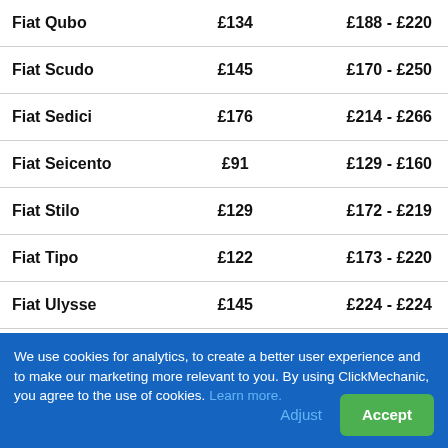| Model | From | Range |
| --- | --- | --- |
| Fiat Qubo | £134 | £188 - £220 |
| Fiat Scudo | £145 | £170 - £250 |
| Fiat Sedici | £176 | £214 - £266 |
| Fiat Seicento | £91 | £129 - £160 |
| Fiat Stilo | £129 | £172 - £219 |
| Fiat Tipo | £122 | £173 - £220 |
| Fiat Ulysse | £145 | £224 - £224 |
We use cookies for analytics, to create a better user experience and to make our marketing more relevant to you. By using ClickMechanic, you agree to the use of cookies. Learn more.